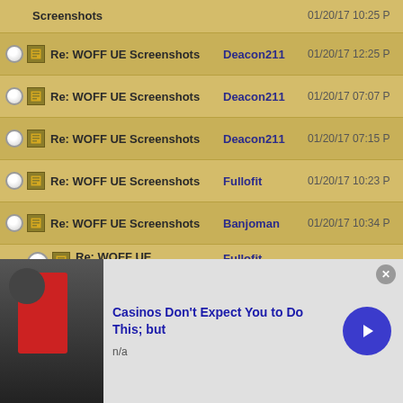|  | Subject | Author | Date |
| --- | --- | --- | --- |
| ○ 🗐 | Re: WOFF UE Screenshots | Deacon211 | 01/20/17 12:25 P |
| ○ 🗐 | Re: WOFF UE Screenshots | Deacon211 | 01/20/17 07:07 P |
| ○ 🗐 | Re: WOFF UE Screenshots | Deacon211 | 01/20/17 07:15 P |
| ○ 🗐 | Re: WOFF UE Screenshots | Fullofit | 01/20/17 10:23 P |
| ○ 🗐 | Re: WOFF UE Screenshots | Banjoman | 01/20/17 10:34 P |
| ○ 🗐 | Re: WOFF UE Screenshots | Fullofit | 01/20/17 11:12 P |
| ○ 🗐 | Re: WOFF UE Screenshots | Banjoman | 01/20/17 10:35 P |
| ○ 🗐 | Re: WOFF UE Screenshots | Fullofit | 01/20/17 11:13 P |
| ○ 🗐 | Re: WOFF UE Screenshots | Banjoman | 01/21/17 12:22 A |
| ○ 🗐 | Re: WOFF UE Screenshots | Hellshade | 01/21/17 02:03 A |
| ○ 🗐 | Re: WOFF UE Screenshots | Fullofit | 01/21/17 02:45 A |
[Figure (screenshot): Advertisement banner at bottom: 'Casinos Don't Expect You to Do This; but' with n/a subtext, photo of person in black jacket, blue arrow button, and X close button]